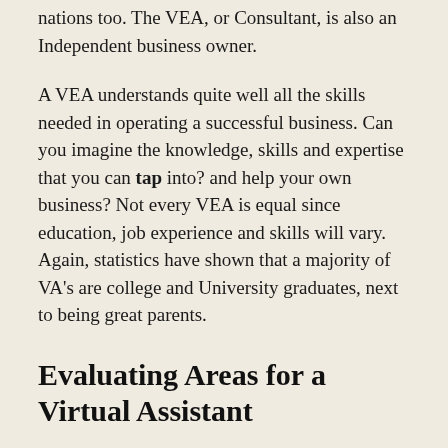nations too. The VEA, or Consultant, is also an Independent business owner.
A VEA understands quite well all the skills needed in operating a successful business. Can you imagine the knowledge, skills and expertise that you can tap into? and help your own business? Not every VEA is equal since education, job experience and skills will vary. Again, statistics have shown that a majority of VA's are college and University graduates, next to being great parents.
Evaluating Areas for a Virtual Assistant
‘A little help can go a long way’ We’ve all heard that quote before and I’m positive that you will enjoy hiring a Virtual Executive Assistant and/or Consultant. S/he will deliver benefits for your own business goals and improve your own over all time management.